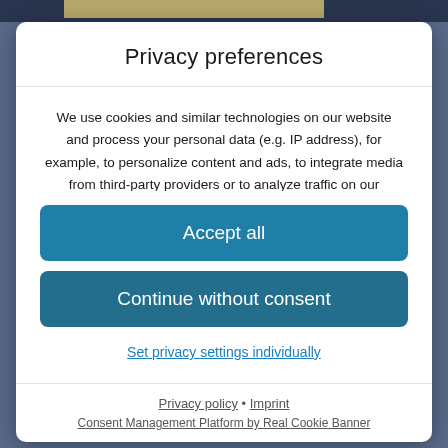Privacy preferences
We use cookies and similar technologies on our website and process your personal data (e.g. IP address), for example, to personalize content and ads, to integrate media from third-party providers or to analyze traffic on our website. Data processing may also happen as a result of cookies being set. We share this data with third parties
Accept all
Continue without consent
Set privacy settings individually
Privacy policy • Imprint
Consent Management Platform by Real Cookie Banner